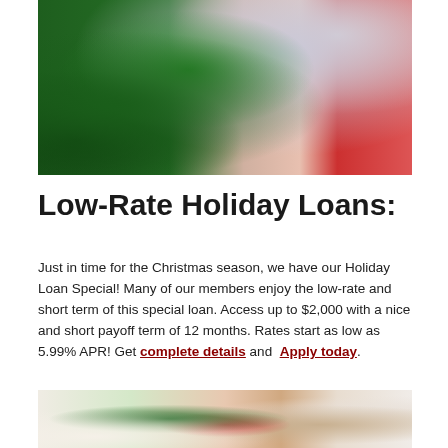[Figure (photo): Child in red and white Christmas sweater decorating a Christmas tree with ornaments]
Low-Rate Holiday Loans:
Just in time for the Christmas season, we have our Holiday Loan Special! Many of our members enjoy the low-rate and short term of this special loan. Access up to $2,000 with a nice and short payoff term of 12 months. Rates start as low as 5.99% APR! Get complete details and Apply today.
[Figure (photo): Family scene near a Christmas tree, holiday setting]